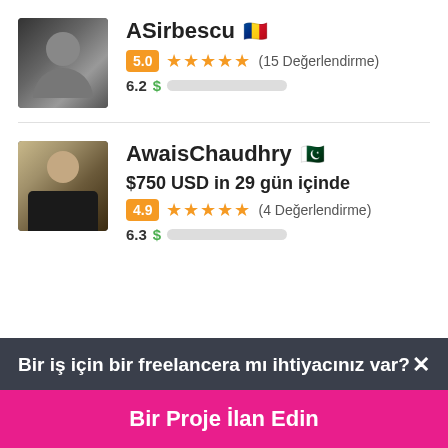ASirbescu 🇷🇴
5.0 ★★★★★ (15 Değerlendirme)
6.2 $ [progress bar]
AwaisChaudhry 🇵🇰
$750 USD in 29 gün içinde
4.9 ★★★★★ (4 Değerlendirme)
6.3 $ [progress bar]
Bir iş için bir freelancera mı ihtiyacınız var? ×
Bir Proje İlan Edin